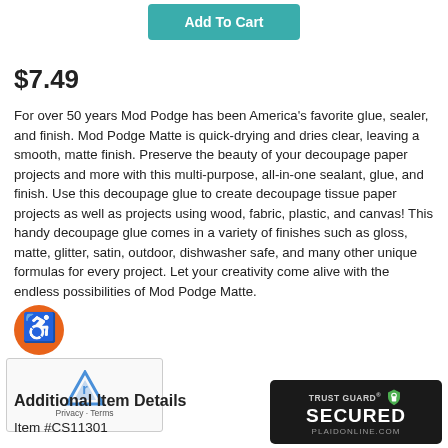[Figure (other): Add To Cart button — teal/green rounded rectangle button with white text]
$7.49
For over 50 years Mod Podge has been America's favorite glue, sealer, and finish. Mod Podge Matte is quick-drying and dries clear, leaving a smooth, matte finish. Preserve the beauty of your decoupage paper projects and more with this multi-purpose, all-in-one sealant, glue, and finish. Use this decoupage glue to create decoupage tissue paper projects as well as projects using wood, fabric, plastic, and canvas! This handy decoupage glue comes in a variety of finishes such as gloss, matte, glitter, satin, outdoor, dishwasher safe, and many other unique formulas for every project. Let your creativity come alive with the endless possibilities of Mod Podge Matte.
[Figure (other): Wheelchair accessibility icon — blue circle with white wheelchair symbol]
[Figure (other): Google reCAPTCHA widget box with reCAPTCHA logo and Privacy - Terms text]
Additional Item Details
Item #CS11301
[Figure (other): Trust Guard Secured badge — dark background with lock icon, TRUST GUARD SECURED text, PLAIDONLINE.COM]